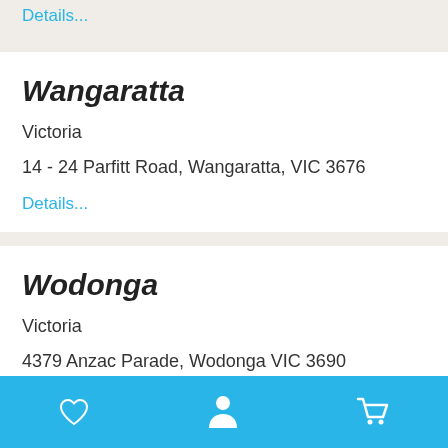Details...
Wangaratta
Victoria
14 - 24 Parfitt Road, Wangaratta, VIC 3676
Details...
Wodonga
Victoria
4379 Anzac Parade, Wodonga VIC 3690
Details...